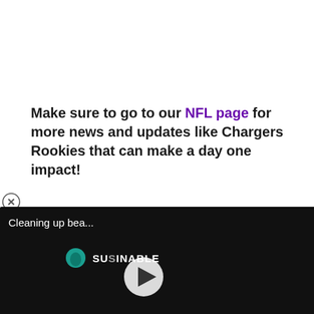Make sure to go to our NFL page for more news and updates like Chargers Rookies that can make a day one impact!
[Figure (screenshot): Video player overlay showing 'Cleaning up bea...' with SUSTAINABLE branding and a play button, with a progress bar at bottom. Tags visible include: chargers, rookies Day One impact, Isaiah Spiller, JT Woods Chargers, LA Chargers rookies. An ad banner for Seamless 'ORDER NOW' at the bottom.]